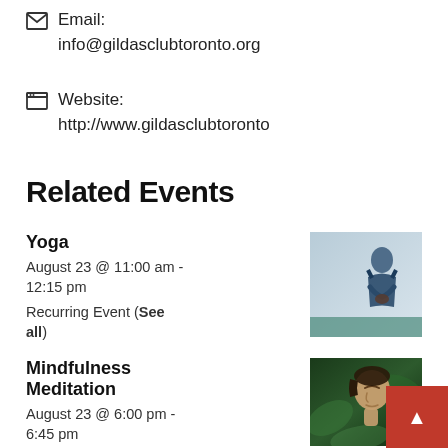Email: info@gildasclubtoronto.org
Website: http://www.gildasclubtoronto
Related Events
Yoga
August 23 @ 11:00 am - 12:15 pm
Recurring Event (See all)
[Figure (photo): Woman in yoga pose with hands together, light background]
Mindfulness Meditation
August 23 @ 6:00 pm - 6:45 pm
Recurring Event (See
[Figure (photo): Person with closed eyes in meditative pose, green foliage background]